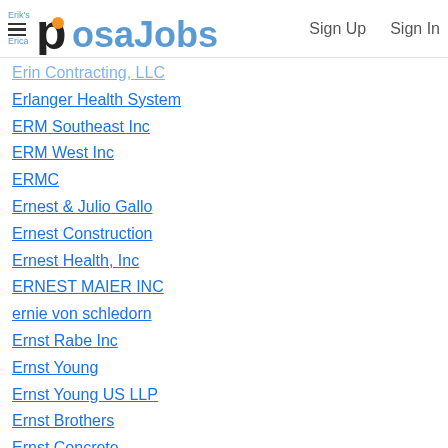PosaJobs — Sign Up, Sign In
Erin Contracting, LLC
Erlanger Health System
ERM Southeast Inc
ERM West Inc
ERMC
Ernest & Julio Gallo
Ernest Construction
Ernest Health, Inc
ERNEST MAIER INC
ernie von schledorn
Ernst Rabe Inc
Ernst Young
Ernst Young US LLP
Ernst Brothers
Ernst Concrete
Ernst Enterprise Inc
Ernst Publishing
ERP International
ERP International, LLC
ERP Prostaff